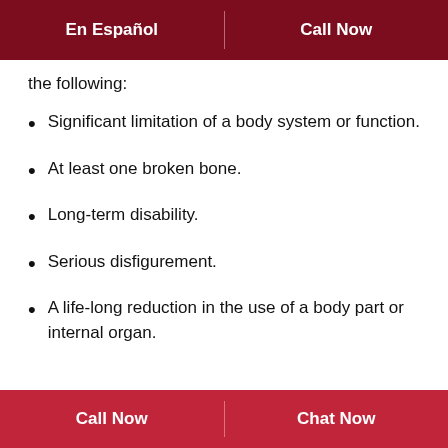En Español | Call Now
the following:
Significant limitation of a body system or function.
At least one broken bone.
Long-term disability.
Serious disfigurement.
A life-long reduction in the use of a body part or internal organ.
Call Now | Chat Now